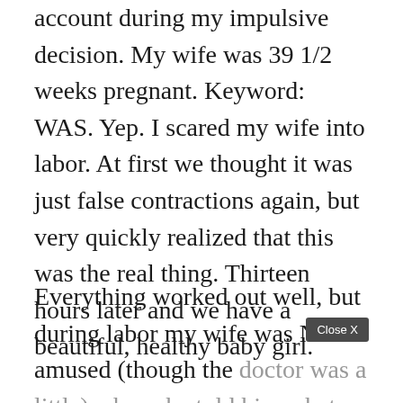account during my impulsive decision. My wife was 39 1/2 weeks pregnant. Keyword: WAS. Yep. I scared my wife into labor. At first we thought it was just false contractions again, but very quickly realized that this was the real thing. Thirteen hours later and we have a beautiful, healthy baby girl.
Everything worked out well, but during labor my wife was NOT amused (though the doctor was a little) when she told him what had caused her to go into labor. Still, lesson